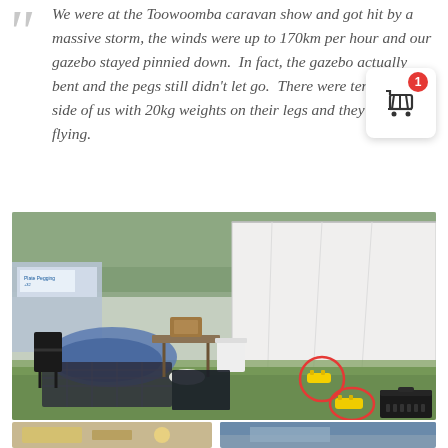We were at the Toowoomba caravan show and got hit by a massive storm, the winds were up to 170km per hour and our gazebo stayed pinnied down.  In fact, the gazebo actually bent and the pegs still didn't let go.  There were tents either side of us with 20kg weights on their legs and they just went flying.
[Figure (photo): Outdoor scene at caravan show after storm damage. Shows collapsed/blown tent structures, white gazebo walls still standing, overturned furniture, and two yellow pegs circled in red on the ground showing they stayed in place.]
[Figure (photo): Partial view of additional photos at bottom of page - left shows food/objects on table, right shows blue outdoor scene.]